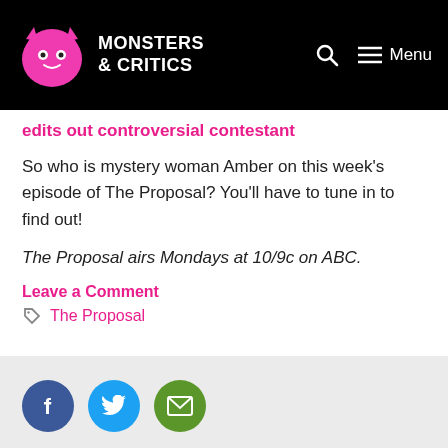Monsters & Critics — navigation bar with logo, search, and menu
edits out controversial contestant
So who is mystery woman Amber on this week's episode of The Proposal? You'll have to tune in to find out!
The Proposal airs Mondays at 10/9c on ABC.
Leave a Comment
The Proposal
[Figure (infographic): Social share buttons: Facebook (blue circle with F), Twitter (light blue circle with bird), Email (green circle with envelope)]